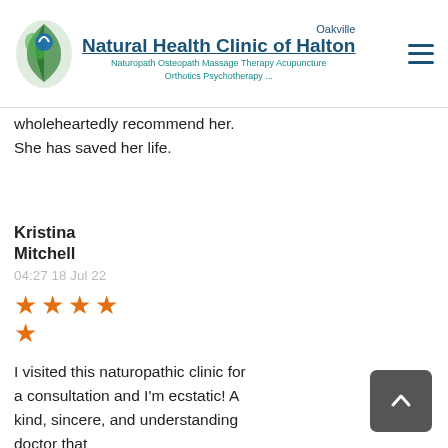Oakville Natural Health Clinic of Halton — Naturopath Osteopath Massage Therapy Acupuncture Orthotics Psychotherapy ...
wholeheartedly recommend her.  She has saved her life.
Kristina Mitchell
04:27 18 Jul 22
[Figure (other): Five orange star rating icons (5 out of 5 stars)]
I visited this naturopathic clinic for a consultation and I'm ecstatic! A kind, sincere, and understanding doctor that